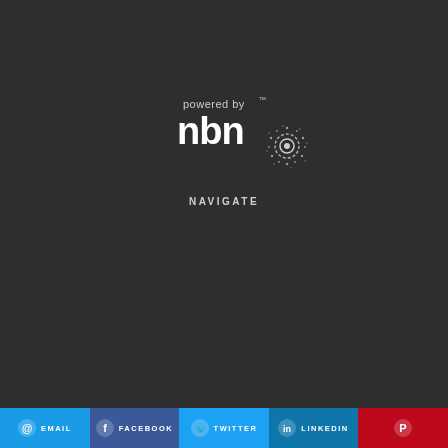[Figure (logo): Powered by nbn logo — white text 'powered by' above stylized white 'nbn' wordmark with circular dot-pattern icon on dark background]
NAVIGATE
HOME
FINANCIAL HARDSHIP
RESIDENTIAL BROADBAND
MAKING A COMPLAINT
SMALL BUSINESS
CRITICAL INFO. SUMMARIES
CORPORATE
POST SALES SUPPORT
PARTNERS
USAGE INFORMATION
SUPPORT
SPEND MANAGEMENT
ABOUT
AUTHORISED REP...
EMAIL   FACEBOOK   TWITTER   LINKEDIN   PINTEREST